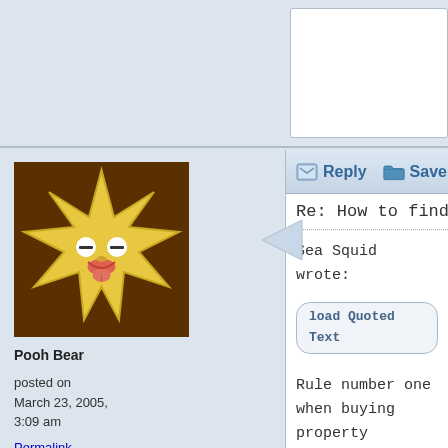[Figure (illustration): Forum post avatar: brown star-shaped character with cartoon face (tired/bored eyes, tongue sticking out), on dark brown background]
Pooh Bear
posted on
March 23, 2005,
3:09 am
Permalink
Re: How to find out the height
Sea Squid wrote:
load Quoted Text
Rule number one when buying property
Graham